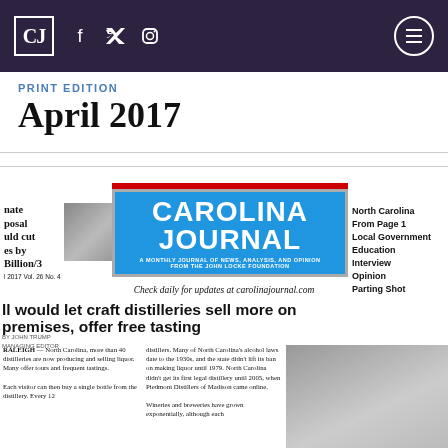CJ [logo] f [facebook] [twitter] [instagram] [hamburger menu]
PRINT EDITION
April 2017
[Figure (screenshot): Carolina Journal newspaper front page for April 2017, Vol. 26 No. 4. Features the Carolina Journal logo in blue, red stripes, left column with 'Senate proposal would cut taxes by $X Billion/3', right column with navigation items: North Carolina, From Page 1, Local Government, Education, Interview, Opinion, Parting Shot. Main headline: 'Bill would let craft distilleries sell more on premises, offer free tasting'. Article body with two text columns and a photo on the right. Check daily for updates at carolinajournal.com. Statewide Edition.]